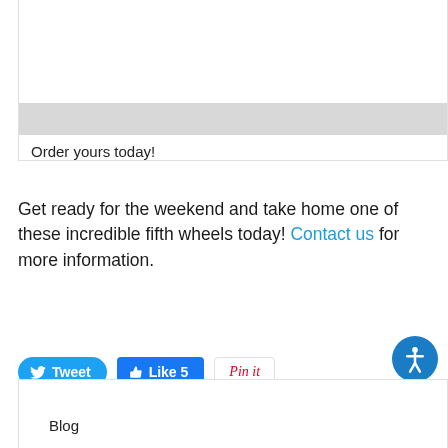[Figure (screenshot): Top portion of a product card with a gray bar and 'Order yours today!' text]
Order yours today!
Get ready for the weekend and take home one of these incredible fifth wheels today! Contact us for more information.
[Figure (infographic): Social sharing buttons: Tweet, Like 5, Pin it]
[Figure (infographic): Accessibility icon button (person in circle)]
Blog